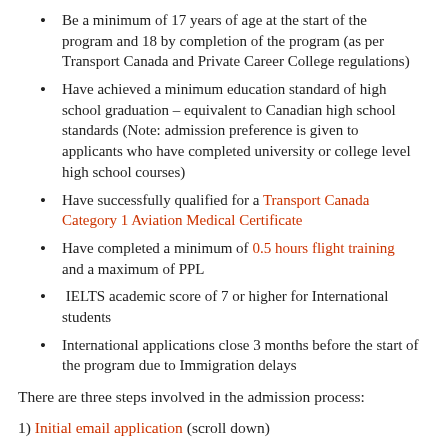Be a minimum of 17 years of age at the start of the program and 18 by completion of the program (as per Transport Canada and Private Career College regulations)
Have achieved a minimum education standard of high school graduation – equivalent to Canadian high school standards (Note: admission preference is given to applicants who have completed university or college level high school courses)
Have successfully qualified for a Transport Canada Category 1 Aviation Medical Certificate
Have completed a minimum of 0.5 hours flight training and a maximum of PPL
IELTS academic score of 7 or higher for International students
International applications close 3 months before the start of the program due to Immigration delays
There are three steps involved in the admission process:
1) Initial email application (scroll down)